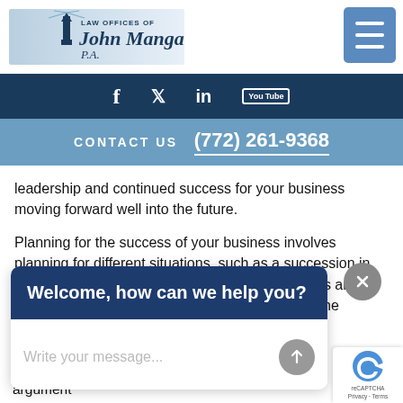[Figure (logo): Law Offices of John Mangan, P.A. logo with lighthouse]
[Figure (other): Hamburger menu button (three horizontal lines)]
f  Twitter  in  YouTube  |  CONTACT US  (772) 261-9368
leadership and continued success for your business moving forward well into the future.
Planning for the success of your business involves planning for different situations, such as a succession in leadership. There can be two key elements to this area of business estate planning. The first is to plan for the possibility of your temporary incapacitation,
[Figure (other): Chat widget with header 'Welcome, how can we help you?' and text input 'Write your message...']
incapacitated. It can be much better to make that choice now, rather than for there to be an argument